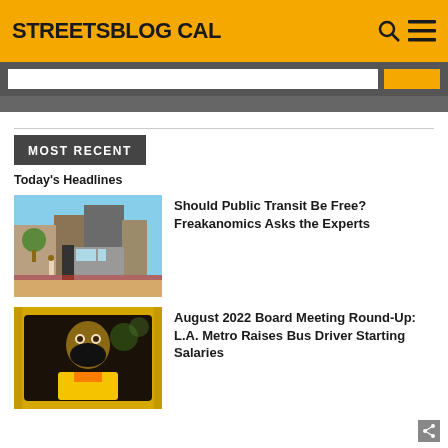STREETSBLOG CAL
MOST RECENT
Today's Headlines
[Figure (photo): Street scene with city bus at a bus stop with a red bus lane, urban buildings in background]
Should Public Transit Be Free? Freakanomics Asks the Experts
[Figure (photo): Bus driver wearing a mask and yellow vest visible through the bus window door]
August 2022 Board Meeting Round-Up: L.A. Metro Raises Bus Driver Starting Salaries